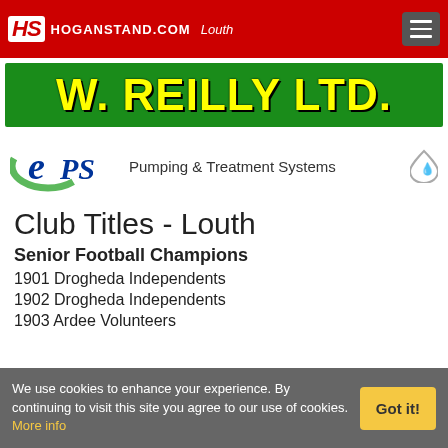HS HOGANSTAND.COM Louth
[Figure (logo): W. REILLY LTD. banner in yellow text on green background]
[Figure (logo): EPS logo with tagline: Pumping & Treatment Systems]
Club Titles - Louth
Senior Football Champions
1901 Drogheda Independents
1902 Drogheda Independents
1903 Ardee Volunteers
We use cookies to enhance your experience. By continuing to visit this site you agree to our use of cookies. More info